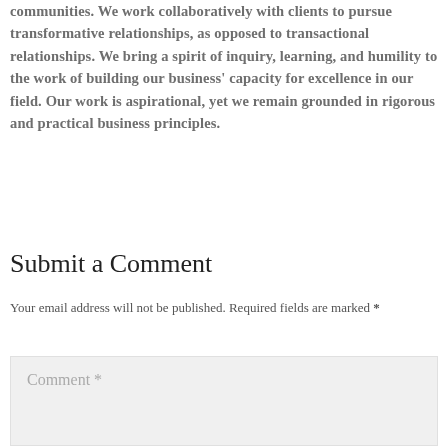communities. We work collaboratively with clients to pursue transformative relationships, as opposed to transactional relationships. We bring a spirit of inquiry, learning, and humility to the work of building our business' capacity for excellence in our field. Our work is aspirational, yet we remain grounded in rigorous and practical business principles.
Submit a Comment
Your email address will not be published. Required fields are marked *
Comment *